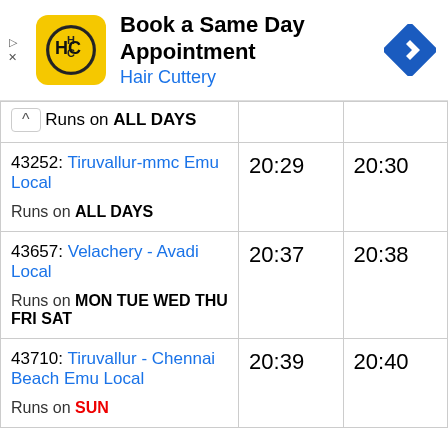[Figure (screenshot): Hair Cuttery advertisement banner: 'Book a Same Day Appointment – Hair Cuttery' with yellow HC logo and blue navigation icon]
| Train | Arr | Dep |
| --- | --- | --- |
| ^ Runs on ALL DAYS |  |  |
| 43252: Tiruvallur-mmc Emu Local
Runs on ALL DAYS | 20:29 | 20:30 |
| 43657: Velachery - Avadi Local
Runs on MON TUE WED THU FRI SAT | 20:37 | 20:38 |
| 43710: Tiruvallur - Chennai Beach Emu Local
Runs on SUN | 20:39 | 20:40 |